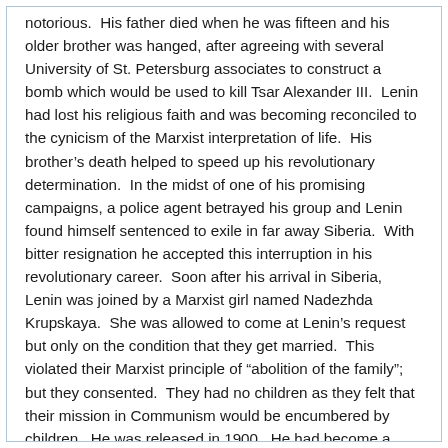notorious.  His father died when he was fifteen and his older brother was hanged, after agreeing with several University of St. Petersburg associates to construct a bomb which would be used to kill Tsar Alexander III.  Lenin had lost his religious faith and was becoming reconciled to the cynicism of the Marxist interpretation of life.  His brother's death helped to speed up his revolutionary determination.  In the midst of one of his promising campaigns, a police agent betrayed his group and Lenin found himself sentenced to exile in far away Siberia.  With bitter resignation he accepted this interruption in his revolutionary career.  Soon after his arrival in Siberia, Lenin was joined by a Marxist girl named Nadezhda Krupskaya.  She was allowed to come at Lenin's request but only on the condition that they get married.  This violated their Marxist principle of “abolition of the family”; but they consented.  They had no children as they felt that their mission in Communism would be encumbered by children.  He was released in 1900.  He had become a cautious